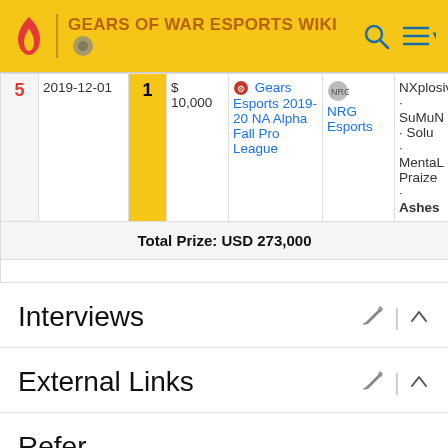GEARS OF WAR ESPORTS WIKI
| # | Date | Place | Prize | Event | Winner | Runners-up |
| --- | --- | --- | --- | --- | --- | --- |
| 5 | 2019-12-01 | 1 | $ 10,000 | Gears Esports 2019-20 NA Alpha Fall Pro League | NRG Esports | NXplosiv · SuMuN · Solu · MentaL Praize · Ashes |
| Total Prize |
| --- |
| Total Prize: USD 273,000 |
Interviews
External Links
References